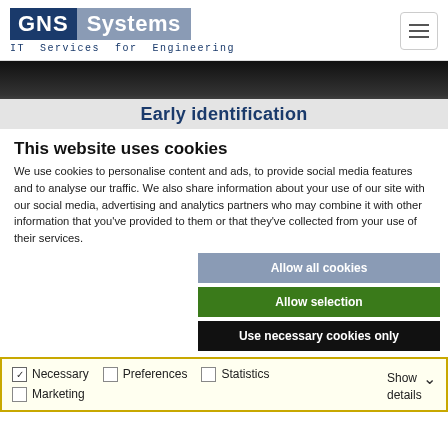GNS Systems — IT Services for Engineering
[Figure (screenshot): Dark hero image partially visible at top, with 'Early identification' text overlay on grey banner]
This website uses cookies
We use cookies to personalise content and ads, to provide social media features and to analyse our traffic. We also share information about your use of our site with our social media, advertising and analytics partners who may combine it with other information that you've provided to them or that they've collected from your use of their services.
Allow all cookies
Allow selection
Use necessary cookies only
Necessary  Preferences  Statistics  Marketing  Show details